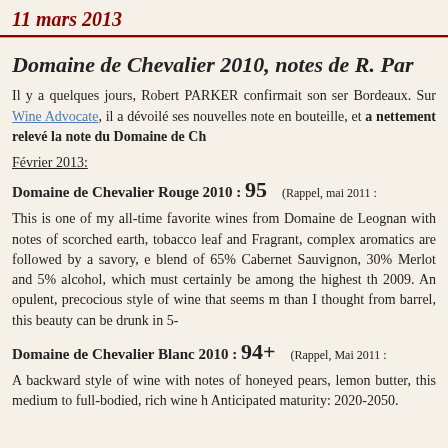11 mars 2013
Domaine de Chevalier 2010, notes de R. Par
Il y a quelques jours, Robert PARKER confirmait son sen Bordeaux. Sur Wine Advocate, il a dévoilé ses nouvelles note en bouteille, et a nettement relevé la note du Domaine de Ch
Février 2013:
Domaine de Chevalier Rouge 2010 : 95    (Rappel, mai 2011 :
This is one of my all-time favorite wines from Domaine de Leognan with notes of scorched earth, tobacco leaf and Fragrant, complex aromatics are followed by a savory, e blend of 65% Cabernet Sauvignon, 30% Merlot and 5% alcohol, which must certainly be among the highest th 2009. An opulent, precocious style of wine that seems m than I thought from barrel, this beauty can be drunk in 5-
Domaine de Chevalier Blanc 2010 : 94+    (Rappel, Mai 2011 :
A backward style of wine with notes of honeyed pears, lemon butter, this medium to full-bodied, rich wine h Anticipated maturity: 2020-2050.